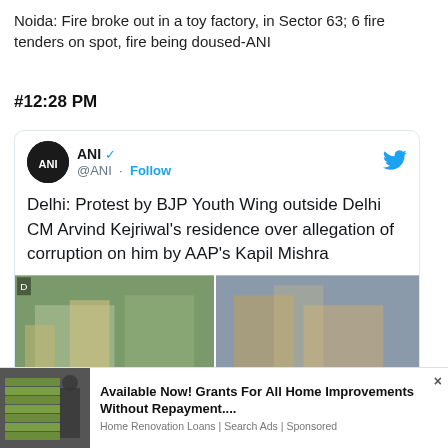Noida: Fire broke out in a toy factory, in Sector 63; 6 fire tenders on spot, fire being doused-ANI
#12:28 PM
[Figure (screenshot): Embedded tweet from ANI (@ANI) with verified badge and Follow button. Tweet text: Delhi: Protest by BJP Youth Wing outside Delhi CM Arvind Kejriwal's residence over allegation of corruption on him by AAP's Kapil Mishra. Includes two protest photos.]
[Figure (infographic): Ad overlay: image of stacked dollar bills on the left; text on the right: 'Available Now! Grants For All Home Improvements Without Repayment.... Home Renovation Loans | Search Ads | Sponsored']